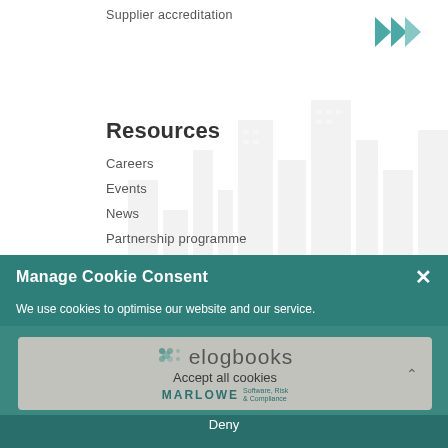Supplier accreditation
Resources
Careers
Events
News
Partnership programme
Training and support
Manage Cookie Consent
We use cookies to optimise our website and our service.
Accept all cookies
[Figure (logo): elogbooks logo with dot pattern and Marlowe Software Risk & Compliance branding]
Deny
Elogbooks Facilities Management Ltd
Si One, Parsons Green, St Ives, Cambridgeshire, PE27 4AA, UK | Phone